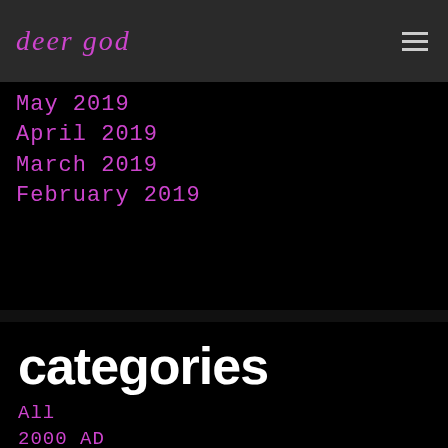deer god
May 2019
April 2019
March 2019
February 2019
categories
All
2000 AD
2 Meter Sessions
2 Tone Ska
30 Seconds To Mars
311
3D Del Naja
+44